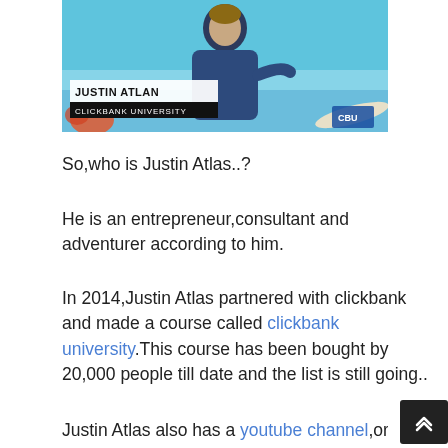[Figure (photo): Screenshot of a video featuring Justin Atlan from Clickbank University, standing outdoors near a beach. A lower-third graphic shows 'JUSTIN ATLAN' and 'CLICKBANK UNIVERSITY'.]
So,who is Justin Atlas..?
He is an entrepreneur,consultant and adventurer according to him.
In 2014,Justin Atlas partnered with clickbank and made a course called clickbank university.This course has been bought by 20,000 people till date and the list is still going..
Justin Atlas also has a youtube channel,or y...